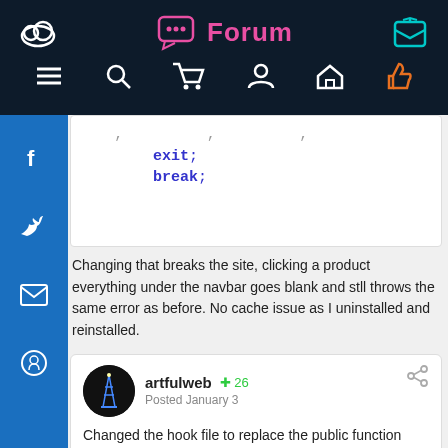Forum
[Figure (screenshot): Forum website top navigation bar with logo, Forum title in pink, icons for search, cart, user, inbox, and a thumbs-up in orange on dark navy background]
exit;
break;
Changing that breaks the site, clicking a product everything under the navbar goes blank and stll throws the same error as before. No cache issue as I uninstalled and reinstalled.
artfulweb  ⊕ 26
Posted January 3

Changed the hook file to replace the public function to  listen_injectRedirects() {